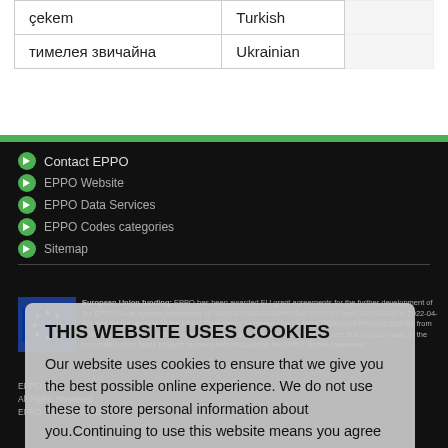| çekem | Turkish |
| тимелея звичайна | Ukrainian |
[Figure (screenshot): EPPO website footer with dark background showing navigation links: Contact EPPO, EPPO Website, EPPO Data Services, EPPO Codes categories, Sitemap, plus EU funding notice and copyright information.]
THIS WEBSITE USES COOKIES
Our website uses cookies to ensure that we give you the best possible online experience. We do not use these to store personal information about you.Continuing to use this website means you agree to our use of cookies. See our policy to learn more about the cookies we use.
Learn more
Accept